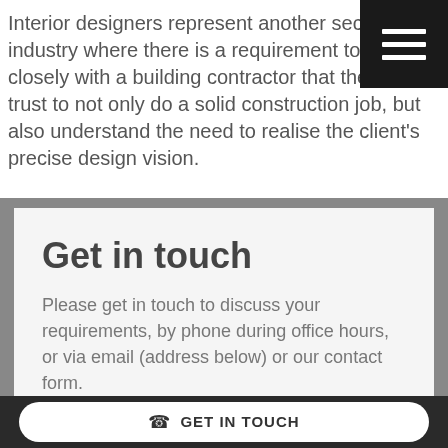Interior designers represent another sector of industry where there is a requirement to work closely with a building contractor that they can trust to not only do a solid construction job, but also understand the need to realise the client's precise design vision.
[Figure (other): Hamburger menu icon — three white horizontal bars on a black square background]
Get in touch
Please get in touch to discuss your requirements, by phone during office hours, or via email (address below) or our contact form.
GET IN TOUCH